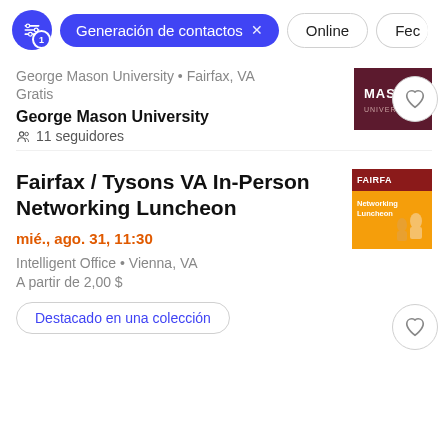Generación de contactos × Online Fec
George Mason University • Fairfax, VA
Gratis
George Mason University
11 seguidores
Fairfax / Tysons VA In-Person Networking Luncheon
mié., ago. 31, 11:30
Intelligent Office • Vienna, VA
A partir de 2,00 $
Destacado en una colección